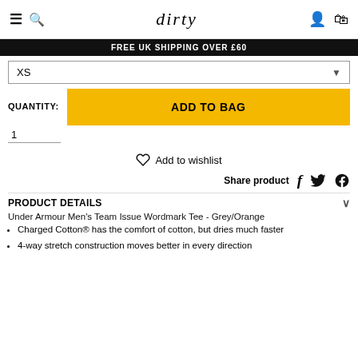dirty - FREE UK SHIPPING OVER £60
XS
QUANTITY: 1
ADD TO BAG
Add to wishlist
Share product
PRODUCT DETAILS
Under Armour Men's Team Issue Wordmark Tee - Grey/Orange
Charged Cotton® has the comfort of cotton, but dries much faster
4-way stretch construction moves better in every direction